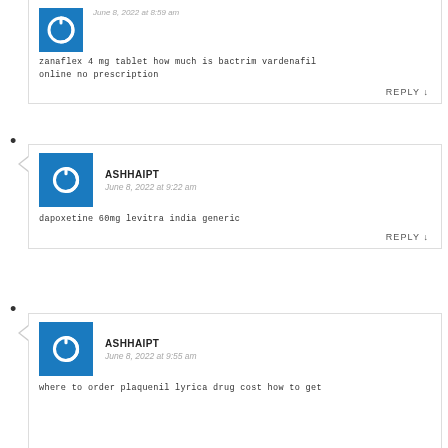zanaflex 4 mg tablet how much is bactrim vardenafil online no prescription
REPLY ↓
•
ASHHAIPT — June 8, 2022 at 9:22 am
dapoxetine 60mg levitra india generic
REPLY ↓
•
ASHHAIPT — June 8, 2022 at 9:55 am
where to order plaquenil lyrica drug cost how to get